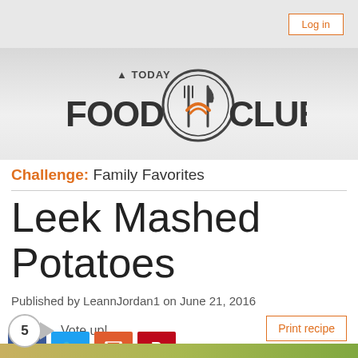Log in
[Figure (logo): TODAY Food Club logo with fork and knife icon and rainbow symbol]
Challenge: Family Favorites
Leek Mashed Potatoes
Published by LeannJordan1 on June 21, 2016
5  Vote up!
Print recipe
[Figure (infographic): Social sharing icons: Facebook, Twitter, Email, Pinterest]